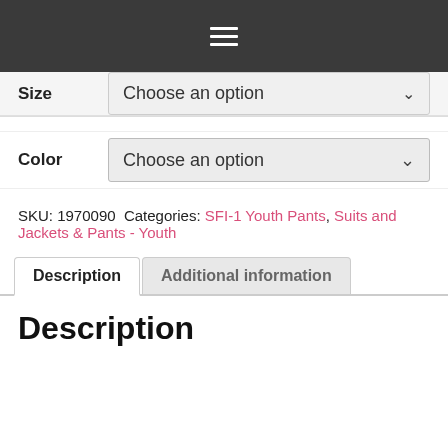Navigation menu (hamburger icon)
| Field | Value |
| --- | --- |
| Size | Choose an option |
| Color | Choose an option |
SKU: 1970090 Categories: SFI-1 Youth Pants, Suits and Jackets & Pants - Youth
Description | Additional information
Description